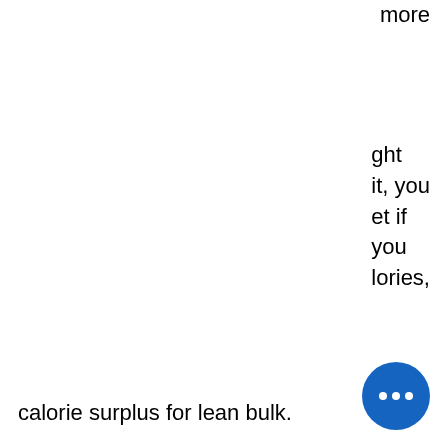more
ght
it, you
et if
you
lories,
calorie surplus for lean bulk.
Let's break this down, calorie surplus for muscle gain. Let's say I wanted to gain 10 pounds of muscle per month, so I would need to lose 10 pounds of body fat each month. That would mean that if I kept to my ideal calorie deficit of 1,000 calories per day, which is based on a 5 pound body fat increase per year or 4 pounds per year if you can count on your macros, I would lose 6 pounds in 11 months assuming that I eat more than 2,200 calories a day and kept to my lifestyle goals (ie, I wouldn't add